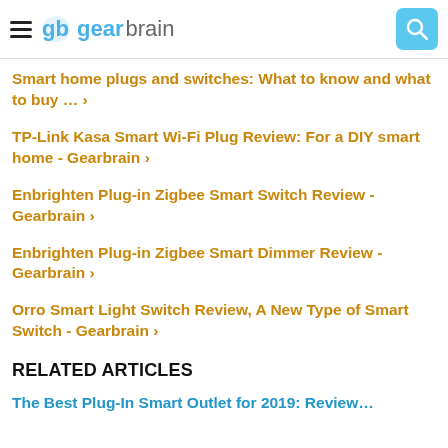gearbrain
Smart home plugs and switches: What to know and what to buy … ›
TP-Link Kasa Smart Wi-Fi Plug Review: For a DIY smart home - Gearbrain ›
Enbrighten Plug-in Zigbee Smart Switch Review - Gearbrain ›
Enbrighten Plug-in Zigbee Smart Dimmer Review - Gearbrain ›
Orro Smart Light Switch Review, A New Type of Smart Switch - Gearbrain ›
RELATED ARTICLES
The Best Plug-In Smart Outlet for 2019: Review…